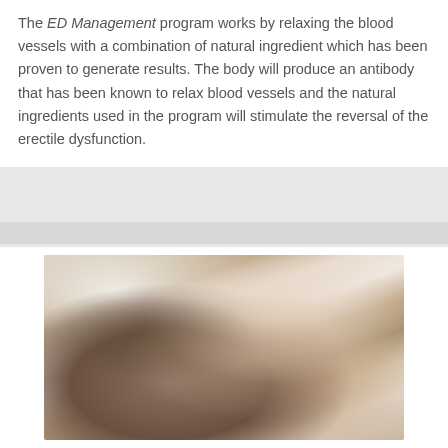The ED Management program works by relaxing the blood vessels with a combination of natural ingredient which has been proven to generate results. The body will produce an antibody that has been known to relax blood vessels and the natural ingredients used in the program will stimulate the reversal of the erectile dysfunction.
[Figure (photo): A couple in an intimate moment on a bed with white sheets, woman with blonde hair lying back, man with dark hair beside her.]